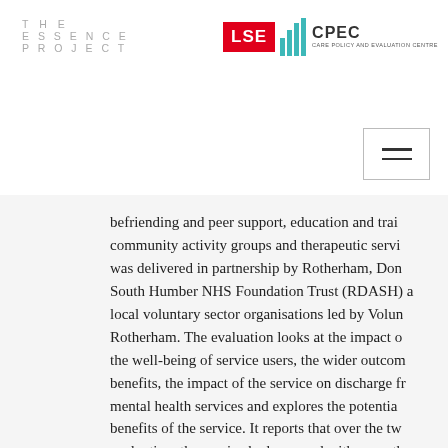THE ESSENCE PROJECT
[Figure (logo): LSE CPEC Care Policy and Evaluation Centre logo with red LSE box and teal bar chart graphic]
befriending and peer support, education and training, community activity groups and therapeutic services was delivered in partnership by Rotherham, Doncaster and South Humber NHS Foundation Trust (RDASH) and local voluntary sector organisations led by Voluntary Action Rotherham. The evaluation looks at the impact on the well-being of service users, the wider outcomes and benefits, the impact of the service on discharge from mental health services and explores the potential economic benefits of the service. It reports that over the two years of evaluation, the service had engaged with more than secondary mental health services in Rotherham. made a significant and positive impact on the we